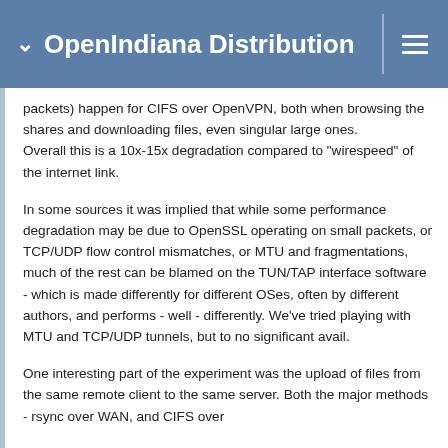OpenIndiana Distribution
packets) happen for CIFS over OpenVPN, both when browsing the shares and downloading files, even singular large ones.
Overall this is a 10x-15x degradation compared to "wirespeed" of the internet link.
In some sources it was implied that while some performance degradation may be due to OpenSSL operating on small packets, or TCP/UDP flow control mismatches, or MTU and fragmentations, much of the rest can be blamed on the TUN/TAP interface software - which is made differently for different OSes, often by different authors, and performs - well - differently. We've tried playing with MTU and TCP/UDP tunnels, but to no significant avail.
One interesting part of the experiment was the upload of files from the same remote client to the same server. Both the major methods - rsync over WAN, and CIFS over